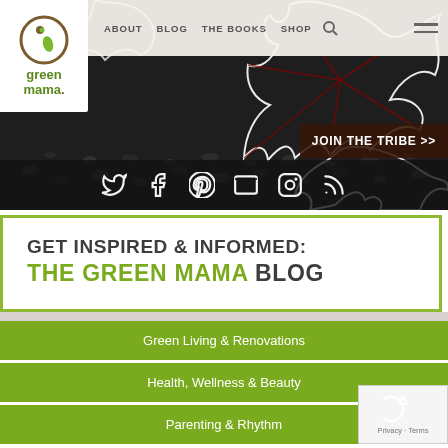[Figure (screenshot): Green Mama website header with logo, navigation bar (ABOUT, BLOG, THE BOOKS, SHOP), autumn leaves background, JOIN THE TRIBE >> banner, and social media icons (Twitter, Facebook, Pinterest, Email, Instagram, RSS)]
GET INSPIRED & INFORMED:
THE GREEN MAMA BLOG
Green Living & Renovations
Health, Wellness & Beauty
Parenting & Rhythm